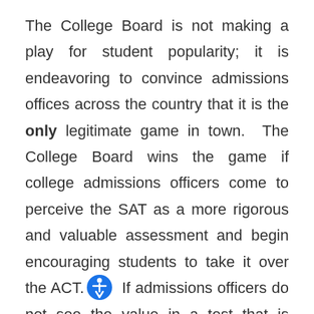The College Board is not making a play for student popularity; it is endeavoring to convince admissions offices across the country that it is the only legitimate game in town.  The College Board wins the game if college admissions officers come to perceive the SAT as a more rigorous and valuable assessment and begin encouraging students to take it over the ACT.  If admissions officers do not see the value in a test that is better aligned with the Common Core and continue to assign equal weight to both tests, the new SAT will be in a precarious position as students migrate in droves to the ACT.  This is quite a gamble: the directors of the College Board clearly have some moxie.  Now we must